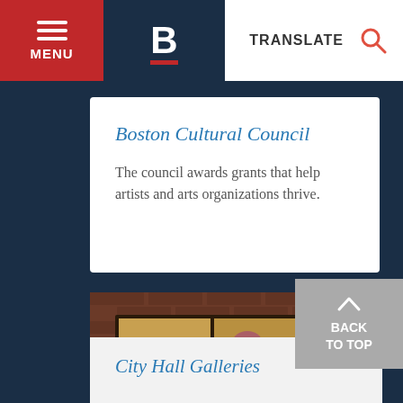MENU | B | TRANSLATE
Boston Cultural Council
The council awards grants that help artists and arts organizations thrive.
[Figure (photo): Art gallery wall with colorful paintings including city scenes and sunflowers mounted on a brick wall]
City Hall Galleries